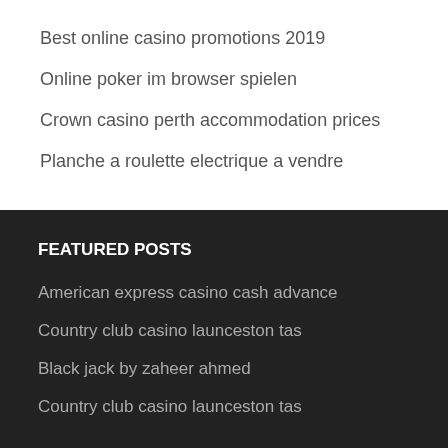Best online casino promotions 2019
Online poker im browser spielen
Crown casino perth accommodation prices
Planche a roulette electrique a vendre
FEATURED POSTS
American express casino cash advance
Country club casino launceston tas
Black jack by zaheer ahmed
Country club casino launceston tas